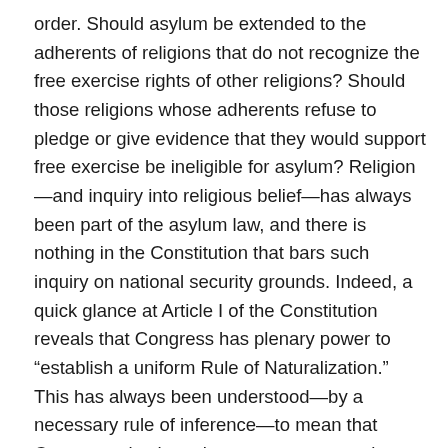order. Should asylum be extended to the adherents of religions that do not recognize the free exercise rights of other religions? Should those religions whose adherents refuse to pledge or give evidence that they would support free exercise be ineligible for asylum? Religion—and inquiry into religious belief—has always been part of the asylum law, and there is nothing in the Constitution that bars such inquiry on national security grounds. Indeed, a quick glance at Article I of the Constitution reveals that Congress has plenary power to “establish a uniform Rule of Naturalization.” This has always been understood—by a necessary rule of inference—to mean that Congress also has plenary power to regulate immigration. Congress has wide latitude to choose the “necessary and proper” means to accomplish this end as long as it doesn’t violate some specific prohibition of the Constitution.